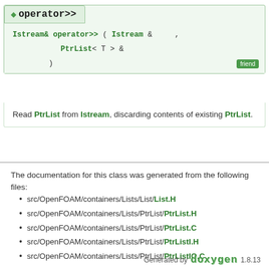operator>>
Istream& operator>> ( Istream & , PtrList< T > & )
Read PtrList from Istream, discarding contents of existing PtrList.
The documentation for this class was generated from the following files:
src/OpenFOAM/containers/Lists/List/List.H
src/OpenFOAM/containers/Lists/PtrList/PtrList.H
src/OpenFOAM/containers/Lists/PtrList/PtrList.C
src/OpenFOAM/containers/Lists/PtrList/PtrListI.H
src/OpenFOAM/containers/Lists/PtrList/PtrListIO.C
Generated by doxygen 1.8.13